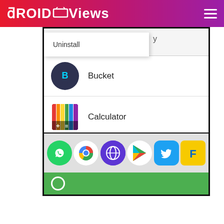DroidViews
[Figure (screenshot): Android phone screenshot showing an app list with a context menu popup. The popup shows 'Uninstall'. Below are app rows: Bucket and Calculator. The dock shows WhatsApp, Chrome, Opera, Google Play, Twitter, and Flipkart icons. A green search bar is at the bottom.]